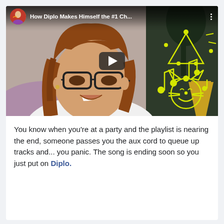[Figure (screenshot): YouTube video thumbnail showing a woman with glasses and brown hair smiling, with yellow music note and party hat doodles overlaid. Video title: 'How Diplo Makes Himself the #1 Ch...' with a channel avatar in the top left and a play button in the center.]
You know when you're at a party and the playlist is nearing the end, someone passes you the aux cord to queue up tracks and... you panic. The song is ending soon so you just put on Diplo.